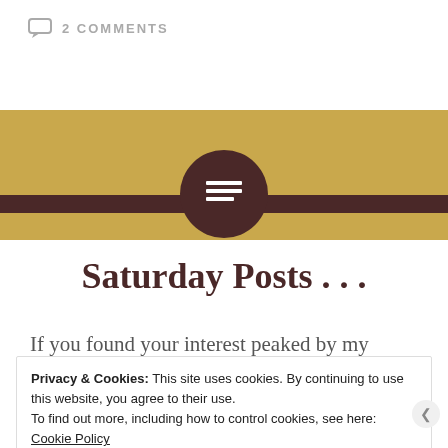2 COMMENTS
[Figure (illustration): Gold banner with dark brown horizontal bar and a dark brown circle icon with a menu/text symbol in the center]
Saturday Posts . . .
If you found your interest peaked by my previous post about leaky gut and removing
Privacy & Cookies: This site uses cookies. By continuing to use this website, you agree to their use.
To find out more, including how to control cookies, see here:
Cookie Policy
Close and accept